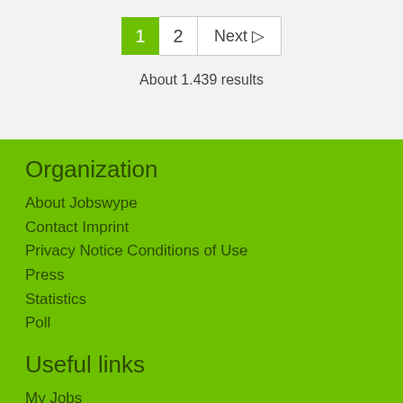1  2  Next ▷
About 1.439 results
Organization
About Jobswype
Contact Imprint
Privacy Notice Conditions of Use
Press
Statistics
Poll
Useful links
My Jobs
Job search
Help